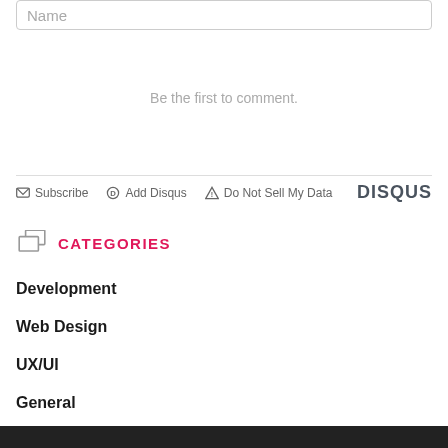Name
Be the first to comment.
Subscribe  Add Disqus  Do Not Sell My Data  DISQUS
CATEGORIES
Development
Web Design
UX/UI
General
Digitalización